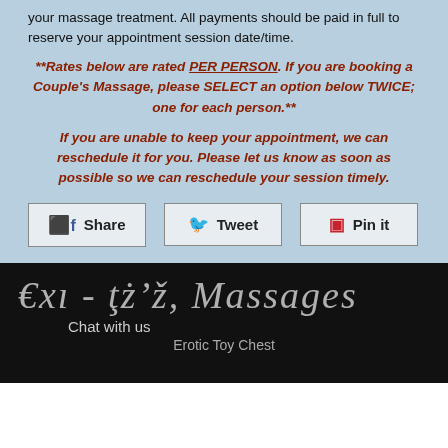your massage treatment. All payments should be paid in full to reserve your appointment session date/time.
**Rates below are rated PER PERSON. If you are booking a Couple's Massage, please SELECT an option below TWICE; one for each person.**
If you are unable to keep your appointment, we can reschedule it for you. Please let us know as soon as possible so we can reschedule your session timely.
Share | Tweet | Pin it
Exotic Massages | Chat with us | Erotic Toy Chest